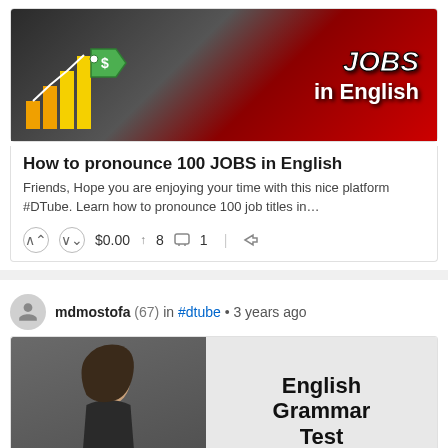[Figure (screenshot): Video thumbnail showing a woman in red shirt with bar chart, money tag, and text 'JOBS in English']
How to pronounce 100 JOBS in English
Friends, Hope you are enjoying your time with this nice platform #DTube. Learn how to pronounce 100 job titles in…
↑  ↓  $0.00  ↑ 8  💬 1  ↩ 1
mdmostofa (67) in #dtube • 3 years ago
[Figure (screenshot): Video thumbnail showing a woman and text 'English Grammar Test' with American flag]